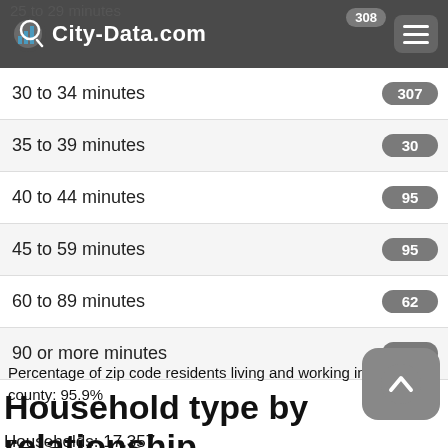City-Data.com
25 to 29 minutes  308
30 to 34 minutes  307
35 to 39 minutes  30
40 to 44 minutes  95
45 to 59 minutes  95
60 to 89 minutes  62
90 or more minutes  120
Percentage of zip code residents living and working in this county: 95.9%
Household type by relationship
Households: 17,357